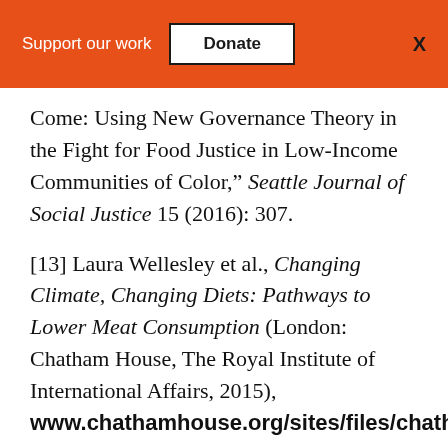Support our work  Donate  X
Come: Using New Governance Theory in the Fight for Food Justice in Low-Income Communities of Color," Seattle Journal of Social Justice 15 (2016): 307.
[13] Laura Wellesley et al., Changing Climate, Changing Diets: Pathways to Lower Meat Consumption (London: Chatham House, The Royal Institute of International Affairs, 2015), www.chathamhouse.org/sites/files/chath